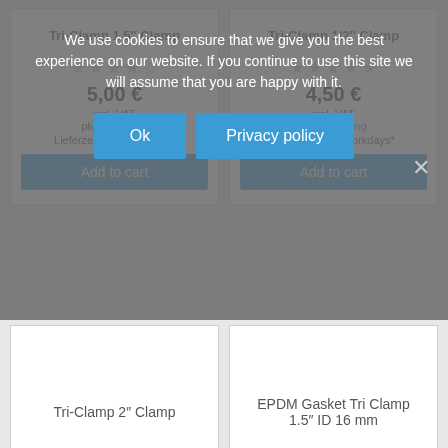We use cookies to ensure that we give you the best experience on our website. If you continue to use this site we will assume that you are happy with it.
Ok
Privacy policy
Tri-Clamp 1.5″ Clamp
5,00 €
incl. VAT
plus Shipping
Lieferzeit: 3-5 Werktage*
Add to cart
Tri-Clamp 1/2″ Clamp
4,50 €
incl. VAT
plus Shipping
Lieferzeit: 3-5 Workdays*
Add to cart
Tri-Clamp 2″ Clamp
6,00 €
incl. VAT
EPDM Gasket Tri Clamp 1.5″ ID 16 mm
0,50 €
incl. VAT